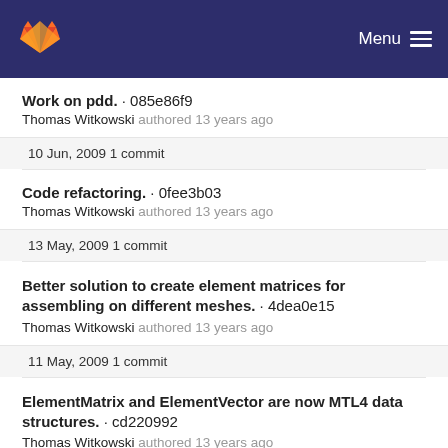GitLab — Menu
Work on pdd. · 085e86f9
Thomas Witkowski authored 13 years ago
10 Jun, 2009 1 commit
Code refactoring. · 0fee3b03
Thomas Witkowski authored 13 years ago
13 May, 2009 1 commit
Better solution to create element matrices for assembling on different meshes. · 4dea0e15
Thomas Witkowski authored 13 years ago
11 May, 2009 1 commit
ElementMatrix and ElementVector are now MTL4 data structures. · cd220992
Thomas Witkowski authored 13 years ago